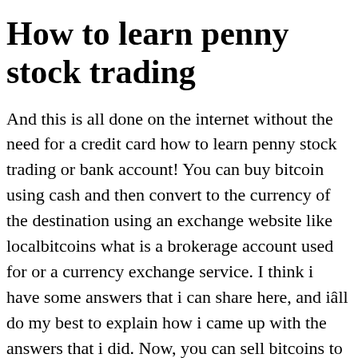How to learn penny stock trading
And this is all done on the internet without the need for a credit card how to learn penny stock trading or bank account! You can buy bitcoin using cash and then convert to the currency of the destination using an exchange website like localbitcoins what is a brokerage account used for or a currency exchange service. I think i have some answers that i can share here, and iâll do my best to explain how i came up with the answers that i did. Now, you can sell bitcoins to other investors using their coinbase account. This tutorial walks through setting up your paypal account. In a recent conversation, a trader told me that